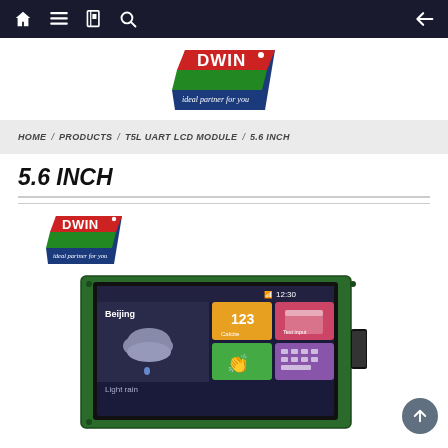Navigation bar with home, menu, bookmark, search icons and back arrow
[Figure (logo): DWIN logo - red/green/blue parallelogram shape with 'DWIN ideal partner for you' text]
HOME / PRODUCTS / T5L UART LCD MODULE / 5.6 INCH
5.6 INCH
[Figure (logo): DWIN logo small - ideal partner for you]
[Figure (photo): DWIN 5.6 inch T5L UART LCD module product photo showing green PCB border with LCD display showing UI with Beijing weather app, calculator, text input, and touch UI elements at 12:30]